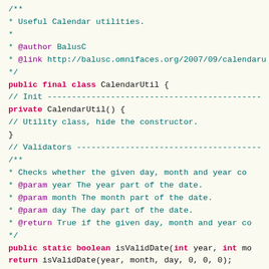Java source code snippet showing CalendarUtil class with Javadoc comments, private constructor, and isValidDate method signature.